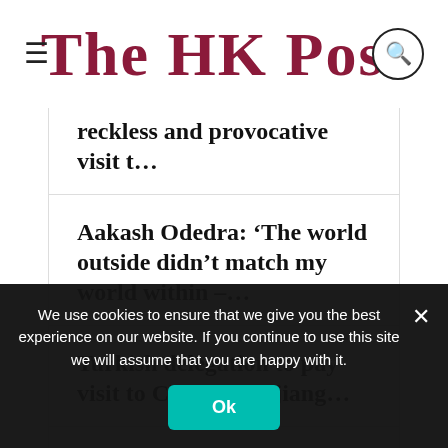The HK Post
reckless and provocative visit t…
Aakash Odedra: 'The world outside didn't match my world within –…
Turkish delegation to pay visit to China's Xinjiang…
Tencent is a success story bedevilled by the
We use cookies to ensure that we give you the best experience on our website. If you continue to use this site we will assume that you are happy with it.